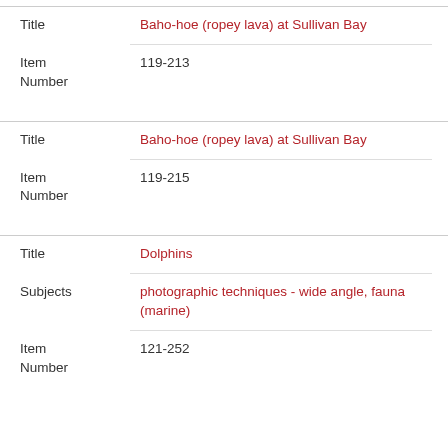| Field | Value |
| --- | --- |
| Title | Baho-hoe (ropey lava) at Sullivan Bay |
| Item Number | 119-213 |
| Title | Baho-hoe (ropey lava) at Sullivan Bay |
| Item Number | 119-215 |
| Title | Dolphins |
| Subjects | photographic techniques - wide angle, fauna (marine) |
| Item Number | 121-252 |